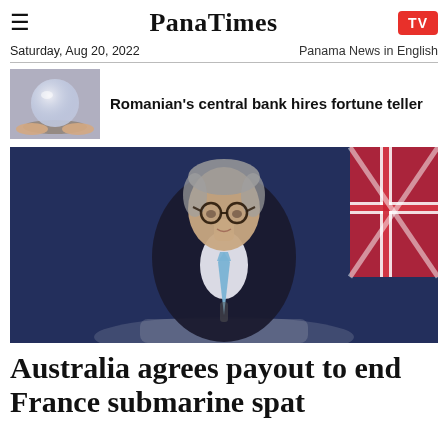PanaTimes
Saturday, Aug 20, 2022    Panama News in English
Romanian's central bank hires fortune teller
[Figure (photo): Photo of a political figure (Anthony Albanese) speaking at a podium with an Australian flag in background]
Australia agrees payout to end France submarine spat